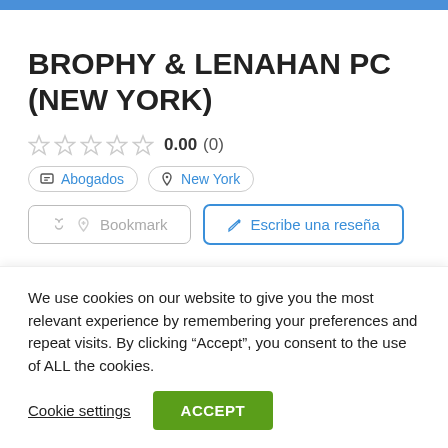BROPHY & LENAHAN PC (NEW YORK)
0.00 (0)
Abogados   New York
Bookmark   Escribe una reseña
We use cookies on our website to give you the most relevant experience by remembering your preferences and repeat visits. By clicking “Accept”, you consent to the use of ALL the cookies.
Cookie settings   ACCEPT